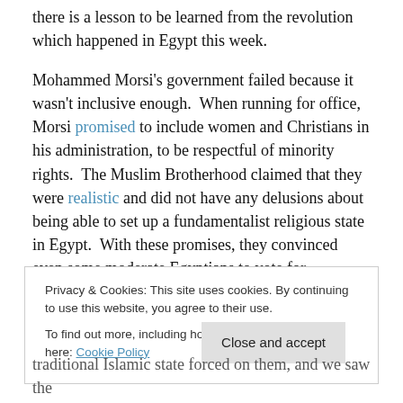there is a lesson to be learned from the revolution which happened in Egypt this week.
Mohammed Morsi's government failed because it wasn't inclusive enough.  When running for office, Morsi promised to include women and Christians in his administration, to be respectful of minority rights.  The Muslim Brotherhood claimed that they were realistic and did not have any delusions about being able to set up a fundamentalist religious state in Egypt.  With these promises, they convinced even some moderate Egyptians to vote for
Privacy & Cookies: This site uses cookies. By continuing to use this website, you agree to their use.
To find out more, including how to control cookies, see here: Cookie Policy
traditional Islamic state forced on them, and we saw the